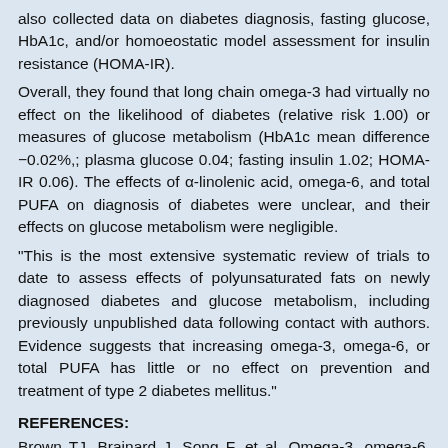also collected data on diabetes diagnosis, fasting glucose, HbA1c, and/or homoeostatic model assessment for insulin resistance (HOMA-IR).
Overall, they found that long chain omega-3 had virtually no effect on the likelihood of diabetes (relative risk 1.00) or measures of glucose metabolism (HbA1c mean difference −0.02%,; plasma glucose 0.04; fasting insulin 1.02; HOMA-IR 0.06). The effects of α-linolenic acid, omega-6, and total PUFA on diagnosis of diabetes were unclear, and their effects on glucose metabolism were negligible.
“This is the most extensive systematic review of trials to date to assess effects of polyunsaturated fats on newly diagnosed diabetes and glucose metabolism, including previously unpublished data following contact with authors. Evidence suggests that increasing omega-3, omega-6, or total PUFA has little or no effect on prevention and treatment of type 2 diabetes mellitus.”
REFERENCES:
Brown TJ, Brainard J, Song F, et al. Omega-3, omega-6, and